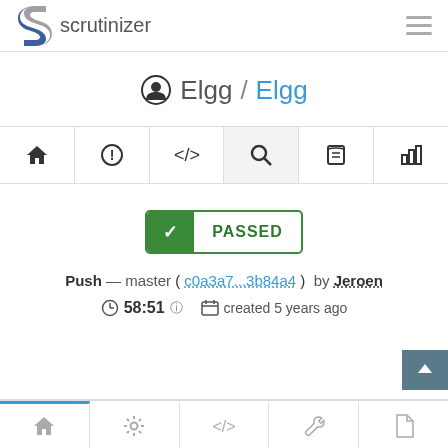scrutinizer
Elgg / Elgg
[Figure (screenshot): Navigation tab bar with home, info, code, search (active), book, and bar-chart icons]
[Figure (infographic): PASSED build status badge with green checkmark]
Push — master ( c0a3a7...3b84a4 ) by Jeroen
58:51  created 5 years ago
[Figure (screenshot): Bottom tab bar with home, settings, code, wrench, and file icons; first tab has blue top border indicator]